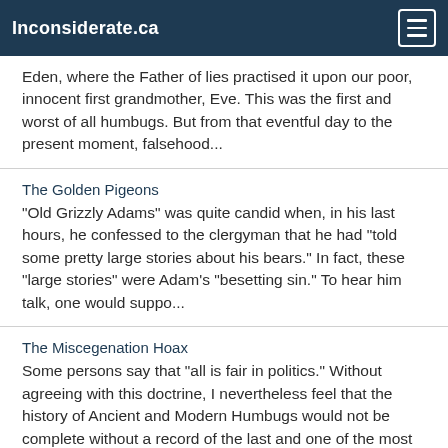Inconsiderate.ca
Eden, where the Father of lies practised it upon our poor, innocent first grandmother, Eve. This was the first and worst of all humbugs. But from that eventful day to the present moment, falsehood...
The Golden Pigeons
"Old Grizzly Adams" was quite candid when, in his last hours, he confessed to the clergyman that he had "told some pretty large stories about his bears." In fact, these "large stories" were Adam's "besetting sin." To hear him talk, one would suppo...
The Miscegenation Hoax
Some persons say that "all is fair in politics." Without agreeing with this doctrine, I nevertheless feel that the history of Ancient and Modern Humbugs would not be complete without a record of the last and one of the most successful of known...